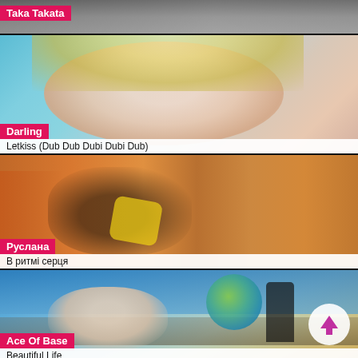[Figure (screenshot): Music video thumbnail for Taka Takata with pink title label overlay]
Taka Takata
[Figure (screenshot): Music video thumbnail showing blonde girl smiling, for Darling - Letkiss (Dub Dub Dubi Dubi Dub)]
Darling
Letkiss (Dub Dub Dubi Dubi Dub)
[Figure (screenshot): Music video thumbnail showing people dancing, for Руслана - В ритмі серця]
Руслана
В ритмі серця
[Figure (screenshot): Music video thumbnail for Ace Of Base - Beautiful Life, with up arrow circle button]
Ace Of Base
Beautiful Life